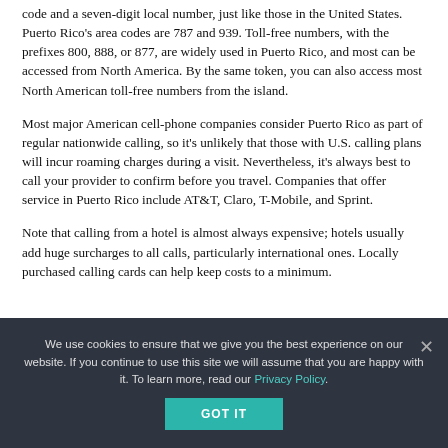code and a seven-digit local number, just like those in the United States. Puerto Rico's area codes are 787 and 939. Toll-free numbers, with the prefixes 800, 888, or 877, are widely used in Puerto Rico, and most can be accessed from North America. By the same token, you can also access most North American toll-free numbers from the island.
Most major American cell-phone companies consider Puerto Rico as part of regular nationwide calling, so it's unlikely that those with U.S. calling plans will incur roaming charges during a visit. Nevertheless, it's always best to call your provider to confirm before you travel. Companies that offer service in Puerto Rico include AT&T, Claro, T-Mobile, and Sprint.
Note that calling from a hotel is almost always expensive; hotels usually add huge surcharges to all calls, particularly international ones. Locally purchased calling cards can help keep costs to a minimum.
We use cookies to ensure that we give you the best experience on our website. If you continue to use this site we will assume that you are happy with it. To learn more, read our Privacy Policy.